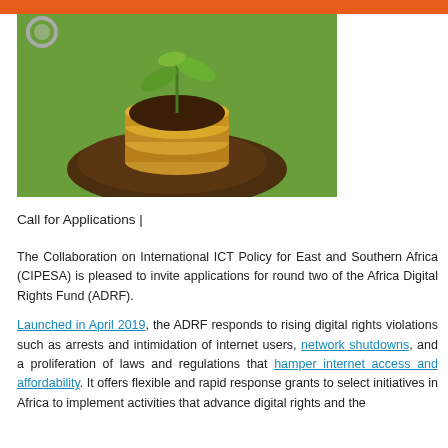[Figure (photo): A plant seedling growing from a stack of coins in soil, with a green background.]
Call for Applications |
The Collaboration on International ICT Policy for East and Southern Africa (CIPESA) is pleased to invite applications for round two of the Africa Digital Rights Fund (ADRF).

Launched in April 2019, the ADRF responds to rising digital rights violations such as arrests and intimidation of internet users, network shutdowns, and a proliferation of laws and regulations that hamper internet access and affordability. It offers flexible and rapid response grants to select initiatives in Africa to implement activities that advance digital rights and the